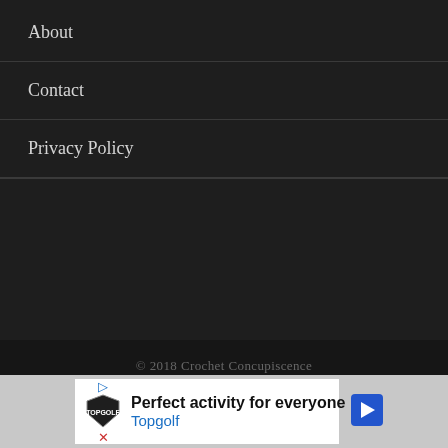About
Contact
Privacy Policy
© 2018 Crochet Concupiscence
^ TOP
[Figure (other): Advertisement banner for Topgolf: 'Perfect activity for everyone' with Topgolf logo and navigation arrow icon]